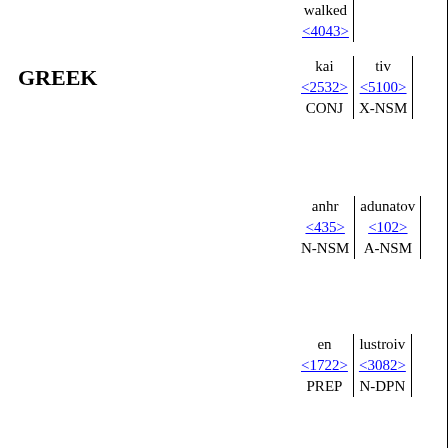walked <4043>
GREEK
| kai | tiv |
| --- | --- |
| <2532> | <5100> |
| CONJ | X-NSM |
| anhr | adunatov |
| --- | --- |
| <435> | <102> |
| N-NSM | A-NSM |
| en | lustroiv |
| --- | --- |
| <1722> | <3082> |
| PREP | N-DPN |
| toiv | posin |
| --- | --- |
| <3588> | <4228> |
| T-DPM | N-DPM |
| ekayhto |
| --- |
| <2521> (5711) |
| V-INI-3S |
| cwlov | ek |
| --- | --- |
| <5560> | <1537> |
| A-NSM | PREP |
| koiliav | mhtrov |
| --- | --- |
| <2836> | <3384> |
| N-GSF | N-GSF |